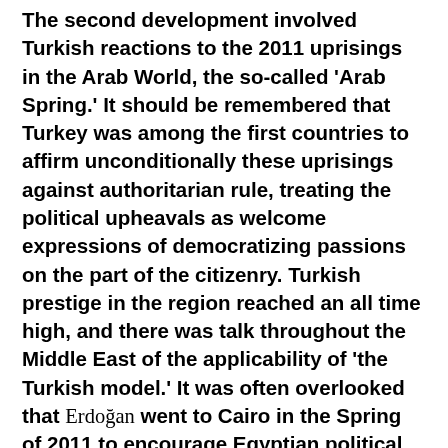The second development involved Turkish reactions to the 2011 uprisings in the Arab World, the so-called 'Arab Spring.' It should be remembered that Turkey was among the first countries to affirm unconditionally these uprisings against authoritarian rule, treating the political upheavals as welcome expressions of democratizing passions on the part of the citizenry. Turkish prestige in the region reached an all time high, and there was talk throughout the Middle East of the applicability of 'the Turkish model.' It was often overlooked that Erdoğan went to Cairo in the Spring of 2011 to encourage Egyptian political forces to follow the Turkish example of political secularism, and not try to embody religion in the governing process. This view not appreciated at the time in Egypt being interpreted as a neo-Ottoman effort to interfere with Egyptian internal right of self...